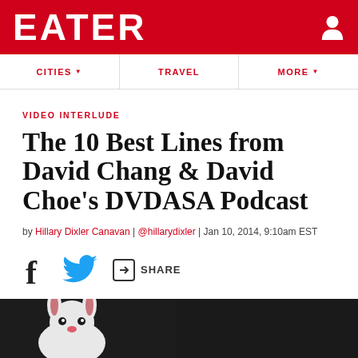EATER
CITIES | TRAVEL | MORE
VIDEO INTERLUDE
The 10 Best Lines from David Chang & David Choe's DVDASA Podcast
by Hillary Dixler Canavan | @hillarydixler | Jan 10, 2014, 9:10am EST
[Figure (photo): Bottom portion of page showing a person in a white bunny costume against a dark background]